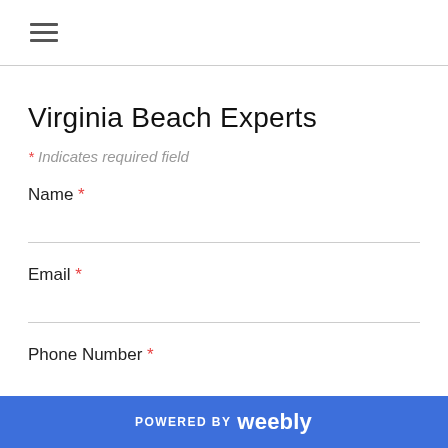[Figure (other): Hamburger menu icon (three horizontal lines)]
Virginia Beach Experts
* Indicates required field
Name *
Email *
Phone Number *
POWERED BY weebly